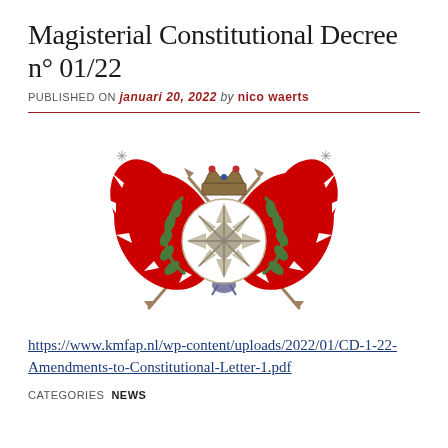Magisterial Constitutional Decree n° 01/22
PUBLISHED ON januari 20, 2022 by nico waerts
[Figure (illustration): Emblem of the Order of Malta showing crossed lances with red flaming flags, a Maltese cross in the center encircled by a laurel wreath, and a royal crown at the top]
https://www.kmfap.nl/wp-content/uploads/2022/01/CD-1-22-Amendments-to-Constitutional-Letter-1.pdf
CATEGORIES NEWS